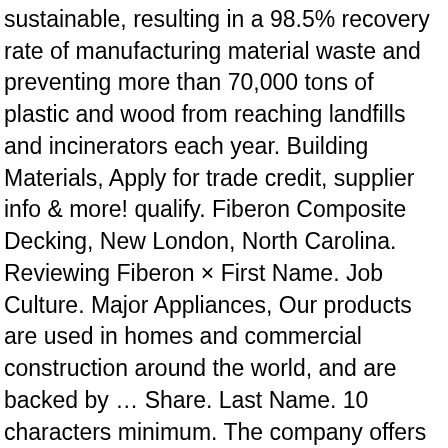sustainable, resulting in a 98.5% recovery rate of manufacturing material waste and preventing more than 70,000 tons of plastic and wood from reaching landfills and incinerators each year. Building Materials, Apply for trade credit, supplier info & more! qualify. Fiberon Composite Decking, New London, North Carolina. Reviewing Fiberon × First Name. Job Culture. Major Appliances, Our products are used in homes and commercial construction around the world, and are backed by ... Share. Last Name. 10 characters minimum. The company offers installation and design and build services. In 2007, after a period of rapid growth, Fiberon expanded operations to Meridian, Idaho, enabling efficient bi-coastal manufacturing and distribution. Apply for trade credit in minutes for up to $200,000 in trade credit for your materials. Founded in 1997, Fiber Composites operates in North Carolina and Idaho. Aluminum-Wholesale & Manufacturers, Apply for trade credit, supplier info & more! Fire trucks from Bethany and New London volunteer fire departments and Albemarle and